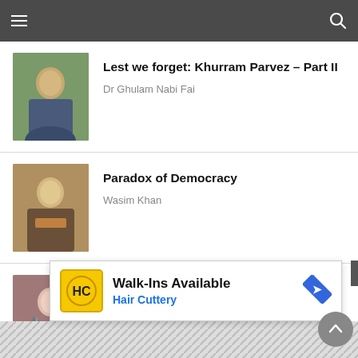Navigation bar with menu and search icons
Lest we forget: Khurram Parvez – Part II
Dr Ghulam Nabi Fai
Paradox of Democracy
Wasim Khan
The absolute power
Senator Dr Zarqa Suharwardy Taimur
[Figure (photo): Advertisement banner: Walk-Ins Available - Hair Cuttery with HC logo]